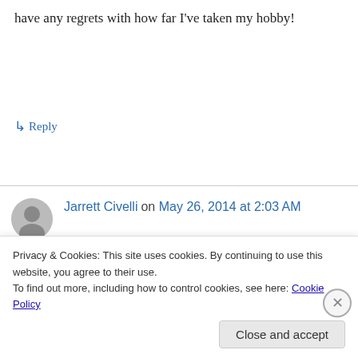have any regrets with how far I've taken my hobby!
↳ Reply
Jarrett Civelli on May 26, 2014 at 2:03 AM
I thought fighting games were pretty simple, at
Privacy & Cookies: This site uses cookies. By continuing to use this website, you agree to their use. To find out more, including how to control cookies, see here: Cookie Policy
Close and accept